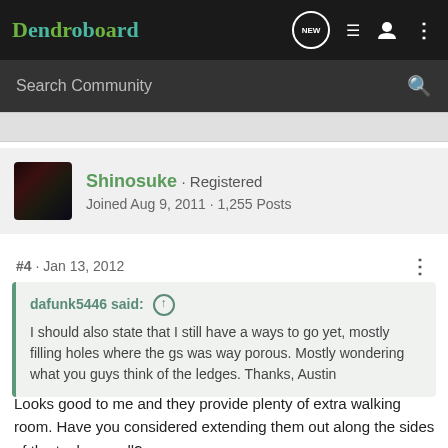Dendroboard
Search Community
Shinosuke · Registered
Joined Aug 9, 2011 · 1,255 Posts
#4 · Jan 13, 2012
dafunk5446 said: ↑
I should also state that I still have a ways to go yet, mostly filling holes where the gs was way porous. Mostly wondering what you guys think of the ledges. Thanks, Austin
Looks good to me and they provide plenty of extra walking room. Have you considered extending them out along the sides of the tank as well?